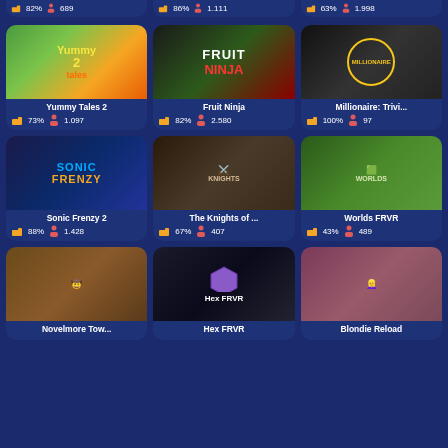[Figure (screenshot): Game grid showing mobile/web games with thumbnails, titles, like percentages, and player counts. Top partial row shows 3 games with 82%/689, 86%/1.111, 63%/1.998. Second row: Yummy Tales 2 (73%, 1.097), Fruit Ninja (82%, 2.580), Millionaire: Trivi... (100%, 97). Third row: Sonic Frenzy 2 (88%, 1.428), The Knights of ... (67%, 407), Worlds FRVR (43%, 489). Bottom partial row: Novelmore Tow..., Hex FRVR, Blondie Reload.]